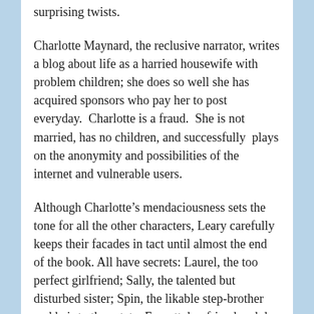surprising twists.
Charlotte Maynard, the reclusive narrator, writes a blog about life as a harried housewife with problem children; she does so well she has acquired sponsors who pay her to post everyday.  Charlotte is a fraud.  She is not married, has no children, and successfully  plays on the anonymity and possibilities of the internet and vulnerable users.
Although Charlotte’s mendaciousness sets the tone for all the other characters, Leary carefully keeps their facades in tact until almost the end of the book. All have secrets: Laurel, the too perfect girlfriend; Sally, the talented but disturbed sister; Spin, the likable step-brother and heir to the estate; Everett, boyfriend and dog whisperer.
The story revolves around familiar themes – old money, New England family, and greed.  After Whit Whitman dies, his second wife and her daughters live on in the